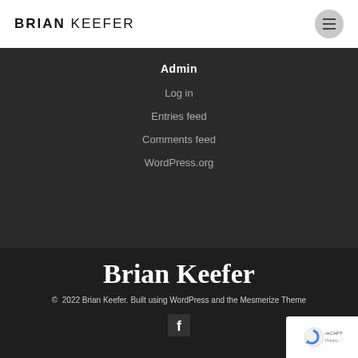BRIAN KEEFER
Admin
Log in
Entries feed
Comments feed
WordPress.org
Brian Keefer
© 2022 Brian Keefer. Built using WordPress and the Mesmerize Theme